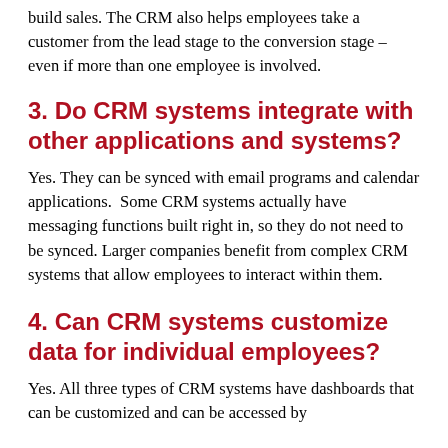build sales. The CRM also helps employees take a customer from the lead stage to the conversion stage – even if more than one employee is involved.
3. Do CRM systems integrate with other applications and systems?
Yes. They can be synced with email programs and calendar applications.  Some CRM systems actually have messaging functions built right in, so they do not need to be synced. Larger companies benefit from complex CRM systems that allow employees to interact within them.
4. Can CRM systems customize data for individual employees?
Yes. All three types of CRM systems have dashboards that can be customized and can be accessed by employees